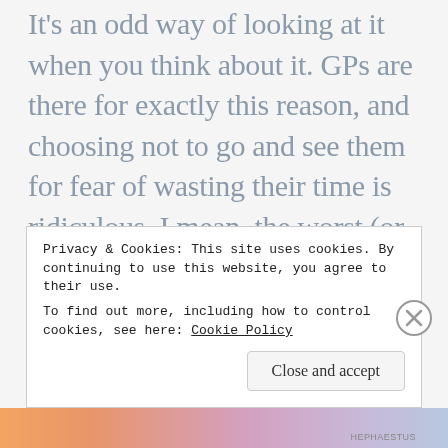It's an odd way of looking at it when you think about it. GPs are there for exactly this reason, and choosing not to go and see them for fear of wasting their time is ridiculous. I mean, the worst (or best!) thing that will happen if you do go and it turns out to be nothing out of the ordinary is that they'll send you on your way with a clear mind and a sense of relief. They're not going to put you in the stocks in the middle of the town
Privacy & Cookies: This site uses cookies. By continuing to use this website, you agree to their use.
To find out more, including how to control cookies, see here: Cookie Policy